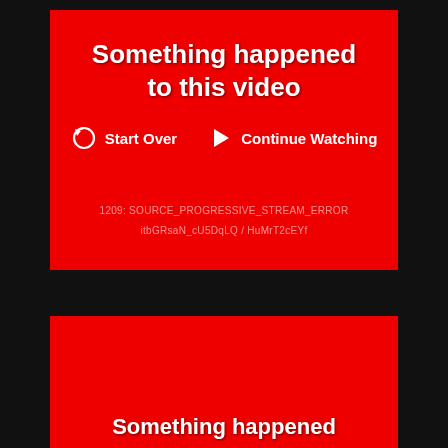Something happened to this video
Start Over
Continue Watching
1209: SOURCE_PROGRESSIVE_STREAM_ERROR
itbGRsaN_cU5DqLQ / HuMrT2cEYf
Something happened